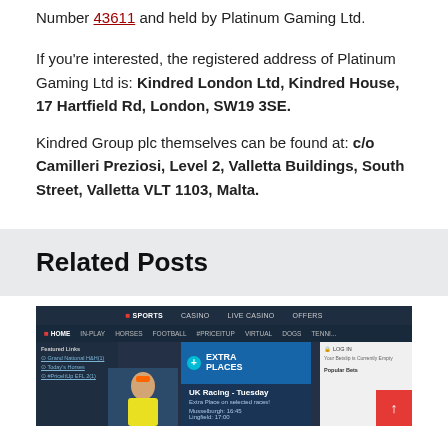Number 43611 and held by Platinum Gaming Ltd.
If you're interested, the registered address of Platinum Gaming Ltd is: Kindred London Ltd, Kindred House, 17 Hartfield Rd, London, SW19 3SE.
Kindred Group plc themselves can be found at: c/o Camilleri Preziosi, Level 2, Valletta Buildings, South Street, Valletta VLT 1103, Malta.
Related Posts
[Figure (screenshot): Screenshot of a sports betting website showing navigation bar with Sports, Casino, Live Casino, Offers, and sub-navigation with Home, In-Play, Horses, Football, #PriceItUp, Virtual, Dogs, Tennis. Below shows UK Racing - Tuesday promotion with Extra Places offer, race listings for Musselburgh 16:45 and Lingfield 17:00, and a scroll-up button.]